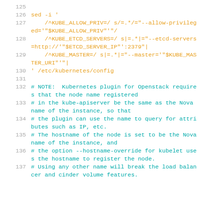125
126   sed -i '
127       /^KUBE_ALLOW_PRIV=/ s/=.*/="--allow-privileged='"$KUBE_ALLOW_PRIV"'"/
128       /^KUBE_ETCD_SERVERS=/ s|=.*|="--etcd-servers=http://'"$ETCD_SERVER_IP"':2379"|
129       /^KUBE_MASTER=/ s|=.*|="--master='"$KUBE_MAS TER_URI"'"|
130   ' /etc/kubernetes/config
131
132   # NOTE:  Kubernetes plugin for Openstack requires that the node name registered
133   # in the kube-apiserver be the same as the Nova name of the instance, so that
134   # the plugin can use the name to query for attributes such as IP, etc.
135   # The hostname of the node is set to be the Nova name of the instance, and
136   # the option --hostname-override for kubelet uses the hostname to register the node.
137   # Using any other name will break the load balancer and cinder volume features.